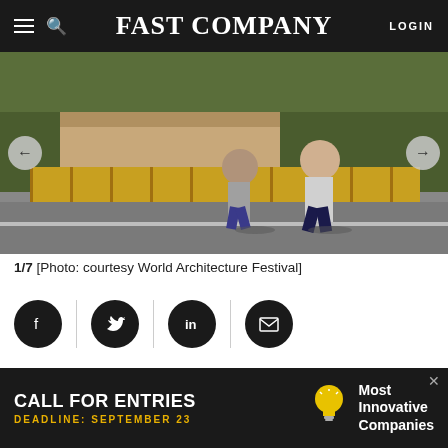FAST COMPANY | LOGIN
[Figure (photo): Two people running on a street next to a building with a wooden fence and trees, taken outdoors in daylight.]
1/7 [Photo: courtesy World Architecture Festival]
[Figure (infographic): Social sharing icons: Facebook, Twitter, LinkedIn, Email (dark circular buttons with white icons)]
BY DIANA BUDDS
1 MINUTE READ
[Figure (screenshot): Advertisement banner: CALL FOR ENTRIES – DEADLINE: SEPTEMBER 23 – Most Innovative Companies]